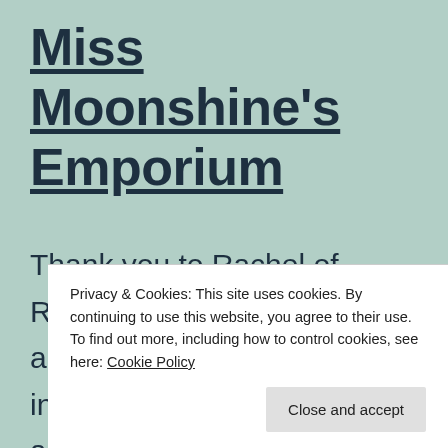Miss Moonshine's Emporium
Thank you to Rachel of Rachel's Random Resources and the nine authors for the invitation to join the blog tour and a digital review copy to read. Synopsis: Are you ready to meet Miss Moonshine? Life may never be t a C
Privacy & Cookies: This site uses cookies. By continuing to use this website, you agree to their use.
To find out more, including how to control cookies, see here: Cookie Policy
Close and accept